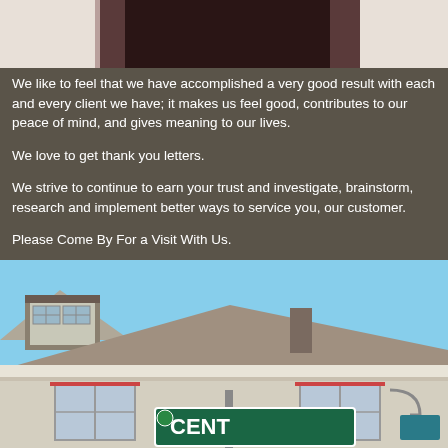[Figure (photo): Partial photo of person at top of page, dark clothing visible]
We like to feel that we have accomplished a very good result with each and every client we have; it makes us feel good, contributes to our peace of mind, and gives meaning to our lives.
We love to get thank you letters.
We strive to continue to earn your trust and investigate, brainstorm, research and implement better ways to service you, our customer.
Please Come By For a Visit With Us.
We Look Forward to Meeting You.
[Figure (photo): Photo of a house exterior with dormer window and street signs including one reading CENT..., blue sky in background]